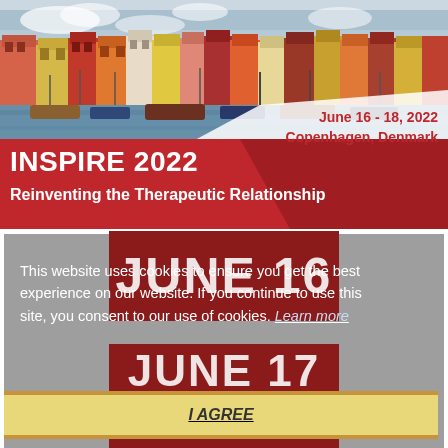[Figure (photo): Aerial/street-level photo of Copenhagen Nyhavn harbor with colorful buildings and boats]
June 16 - 18, 2022
Copenhagen, Denmark
INSPIRE 2022
Reinventing the Therapeutic Relationship
JUNE 16
This website uses cookies to ensure you get the best experience on our website. If you continue to use this site, you consent to our use of cookies. Learn more
JUNE 17
I AGREE
JUNE 18